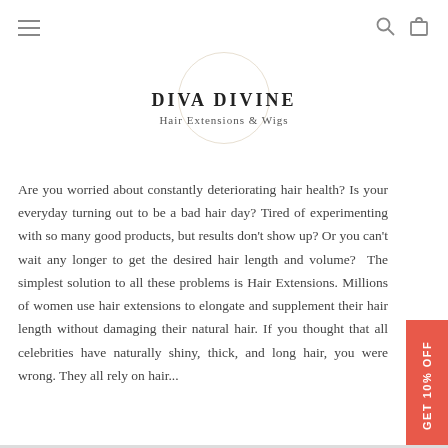navigation header with hamburger menu, search icon, and bag icon
DIVA DIVINE
Hair Extensions & Wigs
Are you worried about constantly deteriorating hair health? Is your everyday turning out to be a bad hair day? Tired of experimenting with so many good products, but results don't show up? Or you can't wait any longer to get the desired hair length and volume? The simplest solution to all these problems is Hair Extensions. Millions of women use hair extensions to elongate and supplement their hair length without damaging their natural hair. If you thought that all celebrities have naturally shiny, thick, and long hair, you were wrong. They all rely on hair...